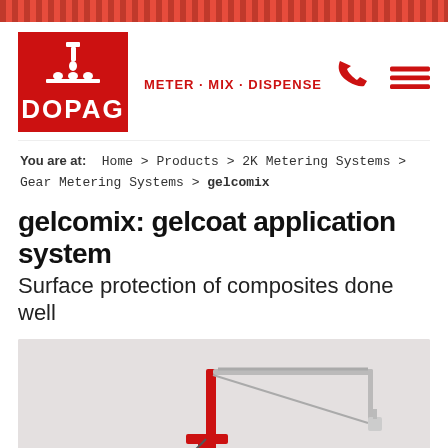[Figure (logo): DOPAG logo - red square with white dispenser icon and DOPAG text, with METER · MIX · DISPENSE tagline in red]
[Figure (other): Phone icon and hamburger menu icon in red in the header top right]
You are at: Home > Products > 2K Metering Systems > Gear Metering Systems > gelcomix
gelcomix: gelcoat application system
Surface protection of composites done well
[Figure (photo): Product photo of the gelcomix gelcoat application system - a red and grey industrial dispensing machine with gantry arm on a light grey background]